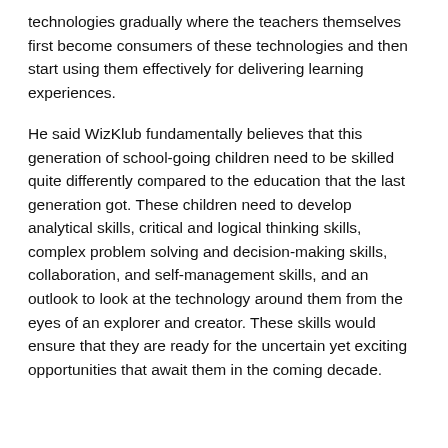technologies gradually where the teachers themselves first become consumers of these technologies and then start using them effectively for delivering learning experiences.
He said WizKlub fundamentally believes that this generation of school-going children need to be skilled quite differently compared to the education that the last generation got. These children need to develop analytical skills, critical and logical thinking skills, complex problem solving and decision-making skills, collaboration, and self-management skills, and an outlook to look at the technology around them from the eyes of an explorer and creator. These skills would ensure that they are ready for the uncertain yet exciting opportunities that await them in the coming decade.